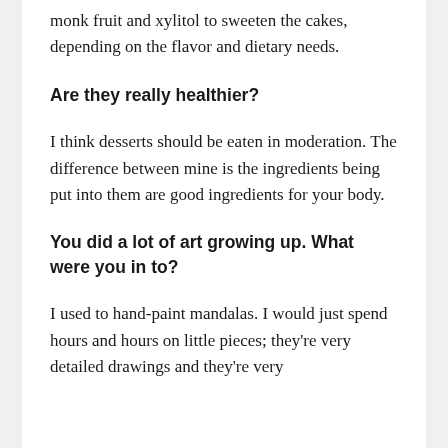monk fruit and xylitol to sweeten the cakes, depending on the flavor and dietary needs.
Are they really healthier?
I think desserts should be eaten in moderation. The difference between mine is the ingredients being put into them are good ingredients for your body.
You did a lot of art growing up. What were you in to?
I used to hand-paint mandalas. I would just spend hours and hours on little pieces; they're very detailed drawings and they're very